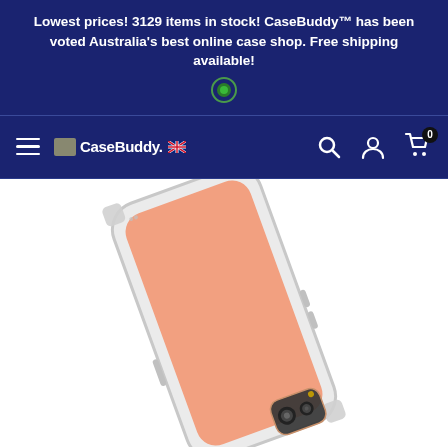Lowest prices! 3129 items in stock! CaseBuddy™ has been voted Australia's best online case shop. Free shipping available!
[Figure (logo): CaseBuddy logo in navigation bar with hamburger menu, search, account, and cart icons]
[Figure (photo): Smartphone in a clear protective case with a pink/salmon-colored inner liner, viewed from the back at an angle]